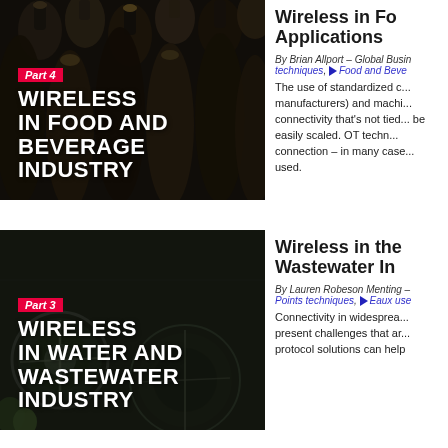[Figure (photo): Dark photo of glass bottles from above with 'Part 4 / WIRELESS IN FOOD AND BEVERAGE INDUSTRY' text overlay]
Wireless in Fo... Applications
By Brian Allport – Global Busin... techniques, Food and Beve...
The use of standardized c... manufacturers) and machi... connectivity that's not tied... be easily scaled. OT techn... connection – in many case... used.
[Figure (photo): Aerial dark photo of water treatment facility with 'Part 3 / WIRELESS IN WATER AND WASTEWATER INDUSTRY' text overlay]
Wireless in the Wastewater In...
By Lauren Robeson Menting – Points techniques, Eaux use...
Connectivity in widesprea... present challenges that ar... protocol solutions can help...